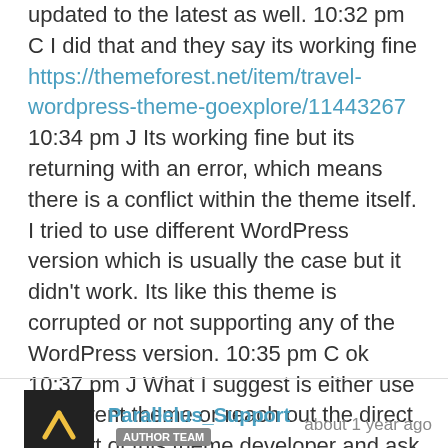updated to the latest as well. 10:32 pm C I did that and they say its working fine https://themeforest.net/item/travel-wordpress-theme-goexplore/11443267 10:34 pm J Its working fine but its returning with an error, which means there is a conflict within the theme itself. I tried to use different WordPress version which is usually the case but it didn't work. Its like this theme is corrupted or not supporting any of the WordPress version. 10:35 pm C ok 10:37 pm J What I suggest is either use a different theme or reach out the direct support of this theme developer and ask them for the reason of the error on the theme since its not accepting any of the php version nor the WordPress version,.
Parallelus_Support AUTHOR TEAM about 1 year ago